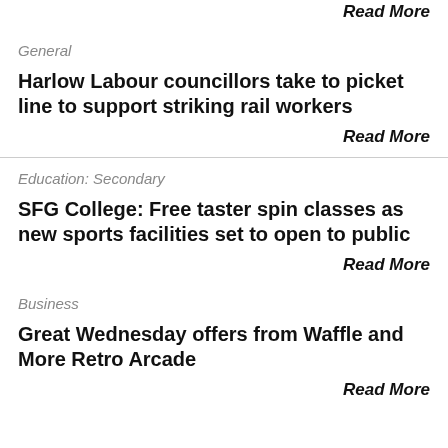Read More
General
Harlow Labour councillors take to picket line to support striking rail workers
Read More
Education: Secondary
SFG College: Free taster spin classes as new sports facilities set to open to public
Read More
Business
Great Wednesday offers from Waffle and More Retro Arcade
Read More